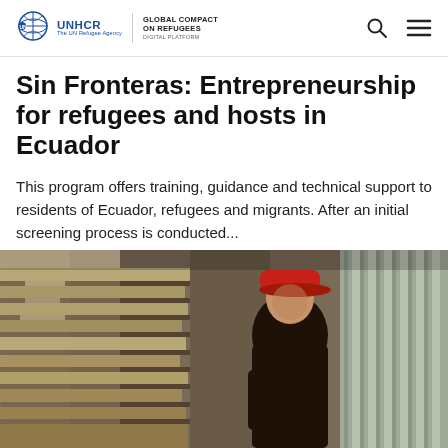UNHCR | GLOBAL COMPACT ON REFUGEES DIGITAL PLATFORM
Sin Fronteras: Entrepreneurship for refugees and hosts in Ecuador
This program offers training, guidance and technical support to residents of Ecuador, refugees and migrants. After an initial screening process is conducted...
[Figure (photo): A person wearing a red cap and dark jacket stands in a wooden structure with corrugated metal walls, appearing to be a farm or rural setting in Ecuador.]